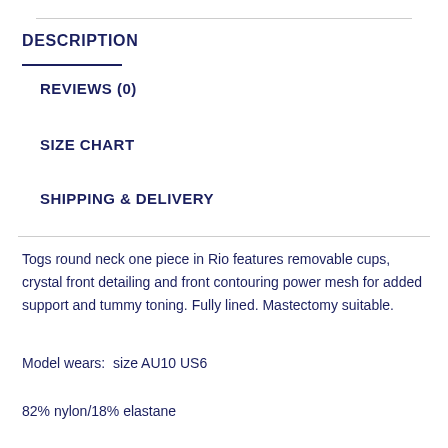DESCRIPTION
REVIEWS (0)
SIZE CHART
SHIPPING & DELIVERY
Togs round neck one piece in Rio features removable cups, crystal front detailing and front contouring power mesh for added support and tummy toning. Fully lined. Mastectomy suitable.
Model wears:  size AU10 US6
82% nylon/18% elastane